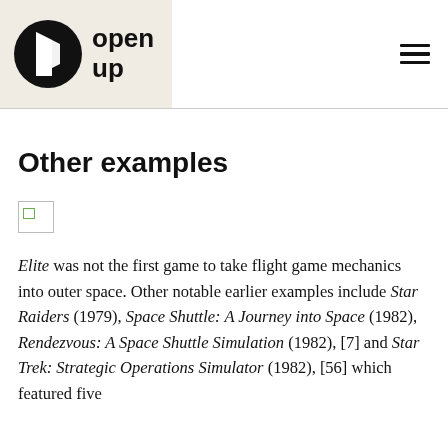[Figure (logo): Open Up logo with a black circle containing a white book/door shape and bold text 'open up' to the right, on a beige background]
Other examples
[Figure (photo): Broken/missing image placeholder]
Elite was not the first game to take flight game mechanics into outer space. Other notable earlier examples include Star Raiders (1979), Space Shuttle: A Journey into Space (1982), Rendezvous: A Space Shuttle Simulation (1982), [7] and Star Trek: Strategic Operations Simulator (1982), [56] which featured five